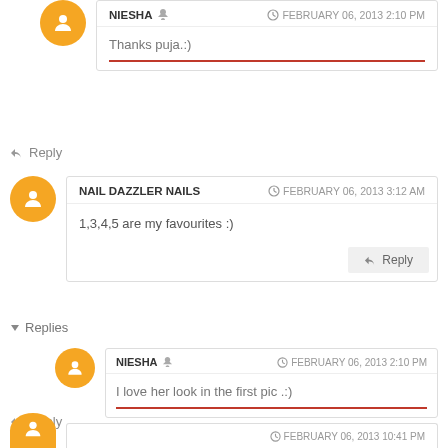NIESHA  ·  FEBRUARY 06, 2013 2:10 PM — Thanks puja.:)
↩ Reply
NAIL DAZZLER NAILS  ·  FEBRUARY 06, 2013 3:12 AM — 1,3,4,5 are my favourites :)
↩ Reply
▾ Replies
NIESHA  ·  FEBRUARY 06, 2013 2:10 PM — I love her look in the first pic .:)
↩ Reply
FEBRUARY 06, 2013 (partial)